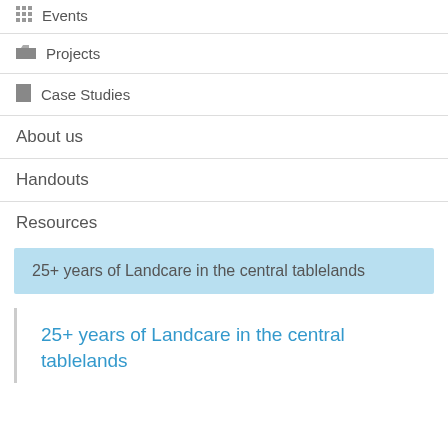Events
Projects
Case Studies
About us
Handouts
Resources
25+ years of Landcare in the central tablelands
25+ years of Landcare in the central tablelands